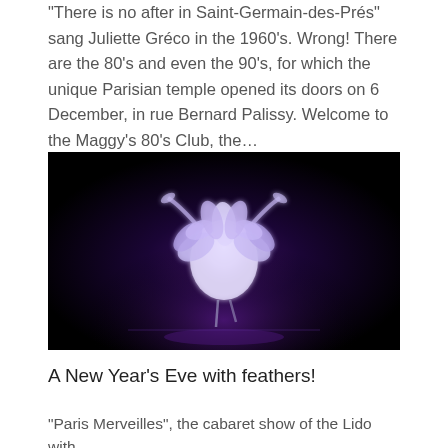“There is no after in Saint-Germain-des-Prés” sang Juliette Gréco in the 1960’s. Wrong! There are the 80’s and even the 90’s, for which the unique Parisian temple opened its doors on 6 December, in rue Bernard Palissy. Welcome to the Maggy’s 80’s Club, the…
[Figure (photo): A performer in an elaborate white feathered costume lit by purple/blue stage lighting, dancing on a dark stage]
A New Year’s Eve with feathers!
“Paris Merveilles”, the cabaret show of the Lido with